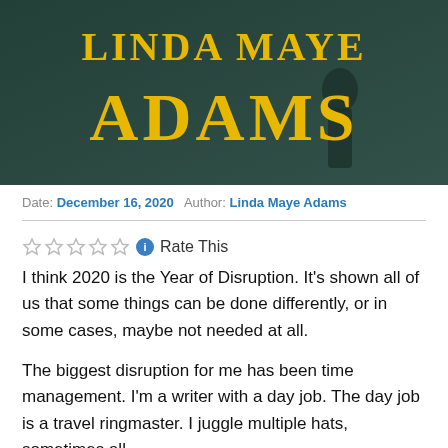[Figure (illustration): Book cover image showing author name LINDA MAYE ADAMS in large yellow/gold serif bold text on a dark teal/green background with a figure visible]
Date: December 16, 2020   Author: Linda Maye Adams
Rate This
I think 2020 is the Year of Disruption. It’s shown all of us that some things can be done differently, or in some cases, maybe not needed at all.
The biggest disruption for me has been time management. I’m a writer with a day job. The day job is a travel ringmaster. I juggle multiple hats, sometimes all